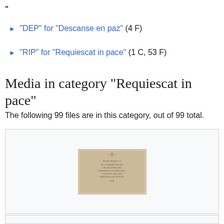"
► "DEP" for "Descanse en paz" (4 F)
► "RIP" for "Requiescat in pace" (1 C, 53 F)
Media in category "Requiescat in pace"
The following 99 files are in this category, out of 99 total.
[Figure (photo): A stone plaque or memorial tablet with engraved text, photographed against a light background.]
2016-06-24 GuentherZ Bruenn (65) Church of Saint Jam…
6,000 × 4,000; 9.16 MB